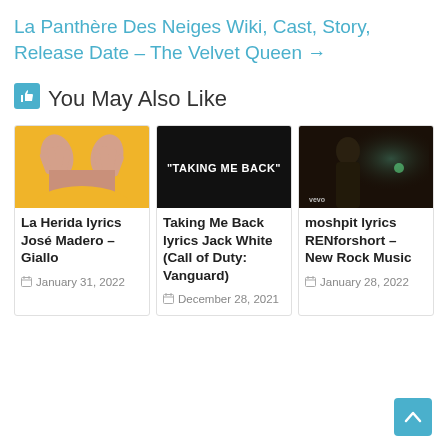La Panthère Des Neiges Wiki, Cast, Story, Release Date – The Velvet Queen →
👍 You May Also Like
[Figure (photo): Yellow background with two hands/arms crossed over a person's chest]
La Herida lyrics José Madero – Giallo
January 31, 2022
[Figure (screenshot): Black background with bold white text reading "TAKING ME BACK"]
Taking Me Back lyrics Jack White (Call of Duty: Vanguard)
December 28, 2021
[Figure (photo): Dark moody photo of a person with vevo watermark in bottom left]
moshpit lyrics RENforshort – New Rock Music
January 28, 2022